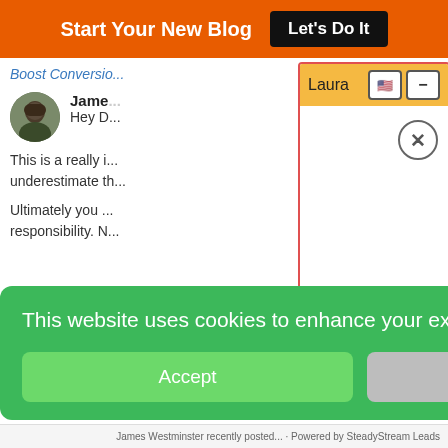Start Your New Blog — Let's Do It
Boost Conversio...
James
Hey D...
This is a really i... underestimate th...
Ultimately you ... responsibility. N...
[Figure (screenshot): Laura chat widget dialog with orange header, US flag icon, minimize button, and close X button]
This website uses cookies to enhance your experience & analyze data.
Accept
Decline
James Westminster recently posted... Powered by SteadyStream Leads